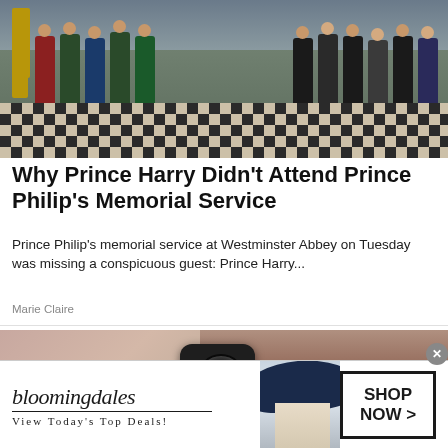[Figure (photo): Royal family members seated at Westminster Abbey memorial service, black and white checkered floor, red chairs, ornate church setting]
Why Prince Harry Didn't Attend Prince Philip's Memorial Service
Prince Philip's memorial service at Westminster Abbey on Tuesday was missing a conspicuous guest: Prince Harry...
Marie Claire
[Figure (photo): Security camera mounted on a wooden surface, black camera body with red ring lens]
[Figure (photo): Bloomingdales advertisement - View Today's Top Deals! SHOP NOW > with model wearing wide brim hat]